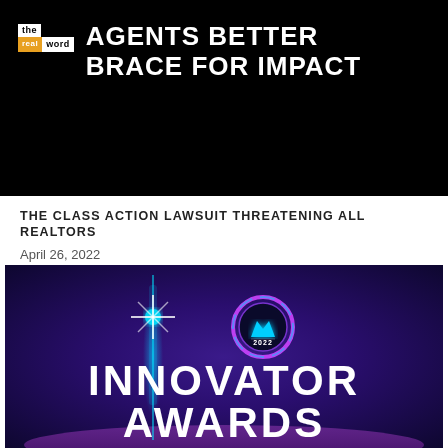[Figure (screenshot): Black banner with 'the real word' logo on left and bold white text 'AGENTS BETTER BRACE FOR IMPACT' on right]
THE CLASS ACTION LAWSUIT THREATENING ALL REALTORS
April 26, 2022
[Figure (screenshot): Dark purple/blue gradient background with a glowing badge/crown logo and text 'INNOVATOR AWARDS 2022']